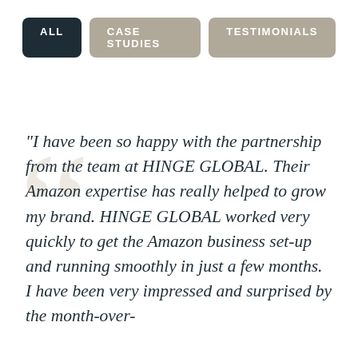ALL
CASE STUDIES
TESTIMONIALS
“I have been so happy with the partnership from the team at HINGE GLOBAL.  Their Amazon expertise has really helped to grow my brand.  HINGE GLOBAL worked very quickly to get the Amazon business set-up and running smoothly in just a few months.  I have been very impressed and surprised by the month-over-